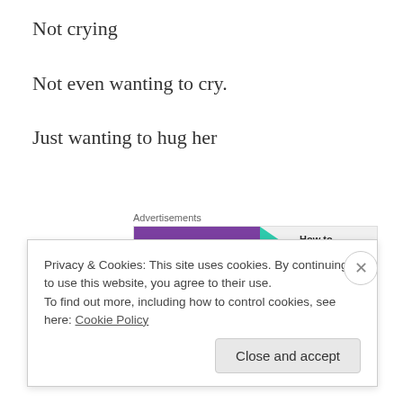Not crying
Not even wanting to cry.
Just wanting to hug her
[Figure (other): Advertisement banner: WooCommerce promotional ad with purple background, teal arrow, and orange accent. Text reads 'How to start selling']
Into eternity
Never stopping
Privacy & Cookies: This site uses cookies. By continuing to use this website, you agree to their use.
To find out more, including how to control cookies, see here: Cookie Policy
Close and accept